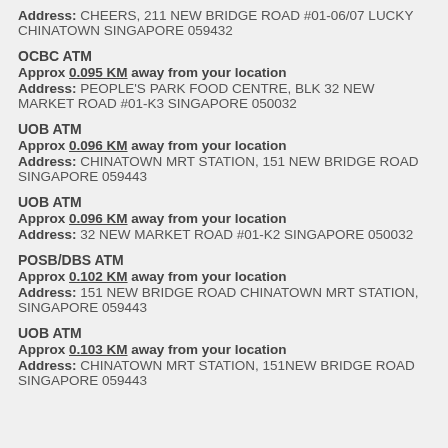Address: CHEERS, 211 NEW BRIDGE ROAD #01-06/07 LUCKY CHINATOWN SINGAPORE 059432
OCBC ATM
Approx 0.095 KM away from your location
Address: PEOPLE'S PARK FOOD CENTRE, BLK 32 NEW MARKET ROAD #01-K3 SINGAPORE 050032
UOB ATM
Approx 0.096 KM away from your location
Address: CHINATOWN MRT STATION, 151 NEW BRIDGE ROAD SINGAPORE 059443
UOB ATM
Approx 0.096 KM away from your location
Address: 32 NEW MARKET ROAD #01-K2 SINGAPORE 050032
POSB/DBS ATM
Approx 0.102 KM away from your location
Address: 151 NEW BRIDGE ROAD CHINATOWN MRT STATION, SINGAPORE 059443
UOB ATM
Approx 0.103 KM away from your location
Address: CHINATOWN MRT STATION, 151NEW BRIDGE ROAD SINGAPORE 059443